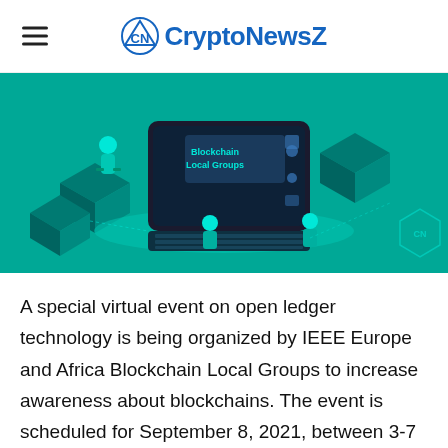CryptoNewsZ
[Figure (illustration): Isometric illustration of blockchain local groups virtual event with people working around a large laptop/computer displaying 'Blockchain Local Groups', floating 3D blocks, and a CryptoNewsZ logo watermark on teal background.]
A special virtual event on open ledger technology is being organized by IEEE Europe and Africa Blockchain Local Groups to increase awareness about blockchains. The event is scheduled for September 8, 2021, between 3-7 pm CET. The registration process